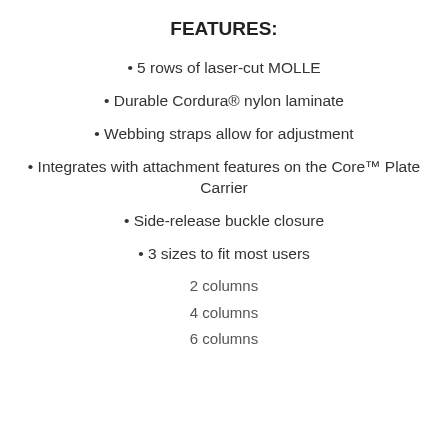FEATURES:
5 rows of laser-cut MOLLE
Durable Cordura® nylon laminate
Webbing straps allow for adjustment
Integrates with attachment features on the Core™ Plate Carrier
Side-release buckle closure
3 sizes to fit most users
2 columns
4 columns
6 columns